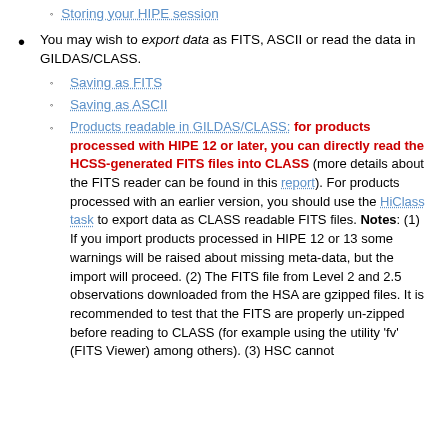Storing your HIPE session
You may wish to export data as FITS, ASCII or read the data in GILDAS/CLASS.
Saving as FITS
Saving as ASCII
Products readable in GILDAS/CLASS: for products processed with HIPE 12 or later, you can directly read the HCSS-generated FITS files into CLASS (more details about the FITS reader can be found in this report). For products processed with an earlier version, you should use the HiClass task to export data as CLASS readable FITS files. Notes: (1) If you import products processed in HIPE 12 or 13 some warnings will be raised about missing meta-data, but the import will proceed. (2) The FITS file from Level 2 and 2.5 observations downloaded from the HSA are gzipped files. It is recommended to test that the FITS are properly un-zipped before reading to CLASS (for example using the utility 'fv' (FITS Viewer) among others). (3) HSC cannot